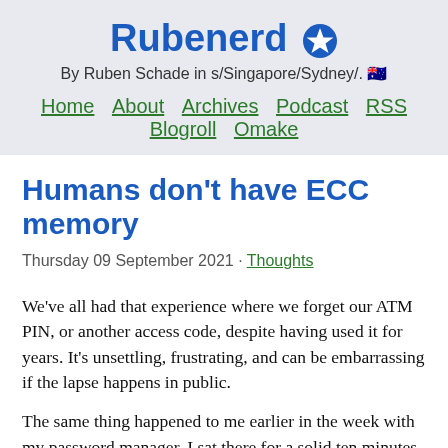Rubenerd ✳
By Ruben Schade in s/Singapore/Sydney/. 🇦🇺
Home  About  Archives  Podcast  RSS  Blogroll  Omake
Humans don't have ECC memory
Thursday 09 September 2021 · Thoughts
We've all had that experience where we forget our ATM PIN, or another access code, despite having used it for years. It's unsettling, frustrating, and can be embarrassing if the lapse happens in public.
The same thing happened to me earlier in the week with my password manager. I sat there for a solid ten minutes unable to remember how to unlock the damned thing, before deciding that going for a walk was a more...